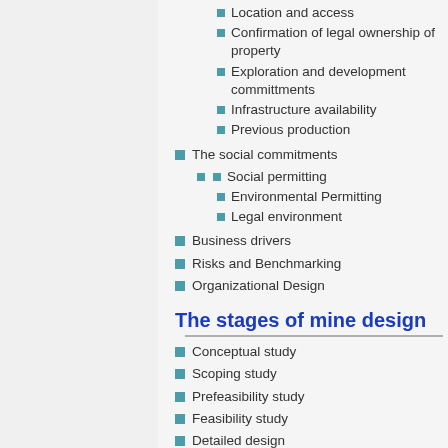Location and access
Confirmation of legal ownership of property
Exploration and development committments
Infrastructure availability
Previous production
The social commitments
Social permitting
Environmental Permitting
Legal environment
Business drivers
Risks and Benchmarking
Organizational Design
The stages of mine design
Conceptual study
Scoping study
Prefeasibility study
Feasibility study
Detailed design
Project management principles